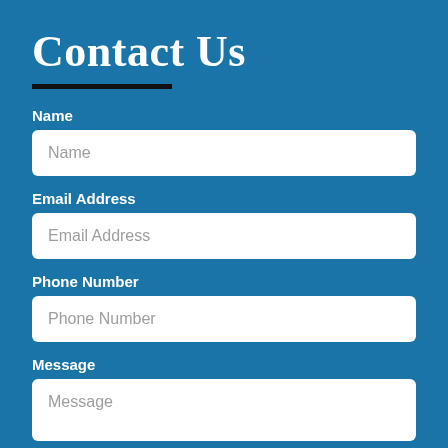Contact Us
Name
Name (placeholder)
Email Address
Email Address (placeholder)
Phone Number
Phone Number (placeholder)
Message
Message (placeholder)